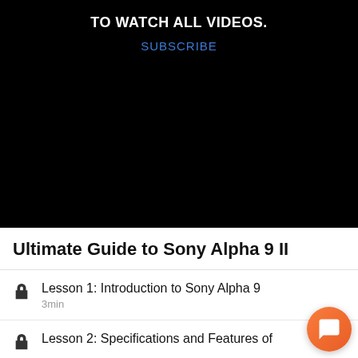[Figure (screenshot): Black video player background with subscribe prompt]
TO WATCH ALL VIDEOS.
SUBSCRIBE
Ultimate Guide to Sony Alpha 9 II
Lesson 1: Introduction to Sony Alpha 9
3min
Lesson 2: Specifications and Features of